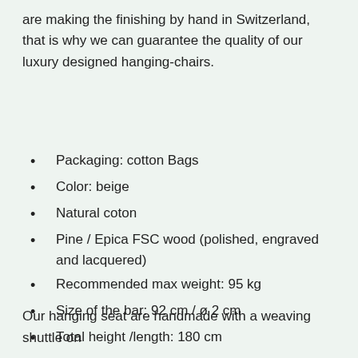are making the finishing by hand in Switzerland, that is why we can guarantee the quality of our luxury designed hanging-chairs.
Packaging: cotton Bags
Color: beige
Natural coton
Pine / Epica FSC wood (polished, engraved and lacquered)
Recommended max weight: 95 kg
Size of the bar: 92 cm / ø 2 cm
Total height /length: 180 cm
Total weight: 1,6 kg
Our hanging seat are handmade with a weaving shuttle on